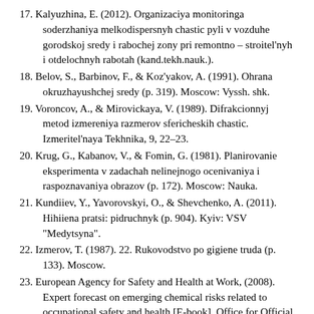17. Kalyuzhina, E. (2012). Organizaciya monitoringa soderzhaniya melkodispersnyh chastic pyli v vozduhe gorodskoj sredy i rabochej zony pri remontno – stroitel'nyh i otdelochnyh rabotah (kand.tekh.nauk.).
18. Belov, S., Barbinov, F., & Koz'yakov, A. (1991). Ohrana okruzhayushchej sredy (p. 319). Moscow: Vyssh. shk.
19. Voroncov, A., & Mirovickaya, V. (1989). Difrakcionnyj metod izmereniya razmerov sfericheskih chastic. Izmeritel'naya Tekhnika, 9, 22–23.
20. Krug, G., Kabanov, V., & Fomin, G. (1981). Planirovanie eksperimenta v zadachah nelinejnogo ocenivaniya i raspoznavaniya obrazov (p. 172). Moscow: Nauka.
21. Kundiiev, Y., Yavorovskyi, O., & Shevchenko, A. (2011). Hihiiena pratsi: pidruchnyk (p. 904). Kyiv: VSV "Medytsyna".
22. Izmerov, T. (1987). 22. Rukovodstvo po gigiene truda (p. 133). Moscow.
23. European Agency for Safety and Health at Work, (2008). Expert forecast on emerging chemical risks related to occupational safety and health [E-book]. Office for Official Publications of the European Communities. https://osha.europa.eu/en/publications/report-expert-forecast-emerging-chemical-risks-related-occupational-